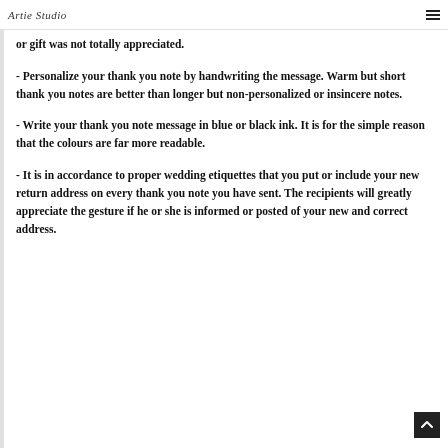Artie Studio
or gift was not totally appreciated.
- Personalize your thank you note by handwriting the message. Warm but short thank you notes are better than longer but non-personalized or insincere notes.
- Write your thank you note message in blue or black ink. It is for the simple reason that the colours are far more readable.
- It is in accordance to proper wedding etiquettes that you put or include your new return address on every thank you note you have sent. The recipients will greatly appreciate the gesture if he or she is informed or posted of your new and correct address.